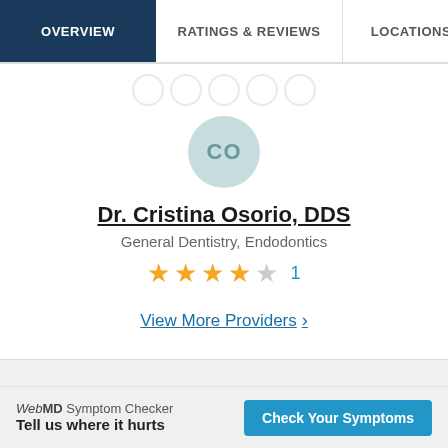OVERVIEW | RATINGS & REVIEWS | LOCATIONS | EX
[Figure (illustration): Avatar circle with initials CO for Dr. Cristina Osorio]
Dr. Cristina Osorio, DDS
General Dentistry, Endodontics
★★★★☆ 1
View More Providers >
WebMD Symptom Checker Tell us where it hurts
Check Your Symptoms